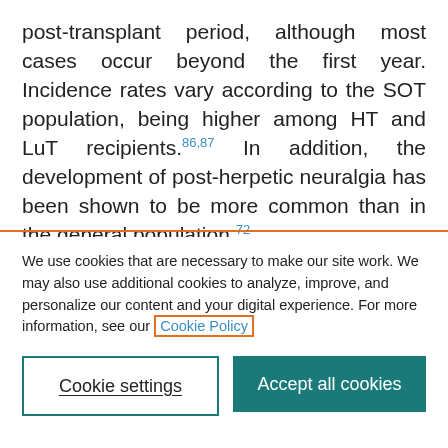post-transplant period, although most cases occur beyond the first year. Incidence rates vary according to the SOT population, being higher among HT and LuT recipients.86,87 In addition, the development of post-herpetic neuralgia has been shown to be more common than in the general population.72
We use cookies that are necessary to make our site work. We may also use additional cookies to analyze, improve, and personalize our content and your digital experience. For more information, see our Cookie Policy